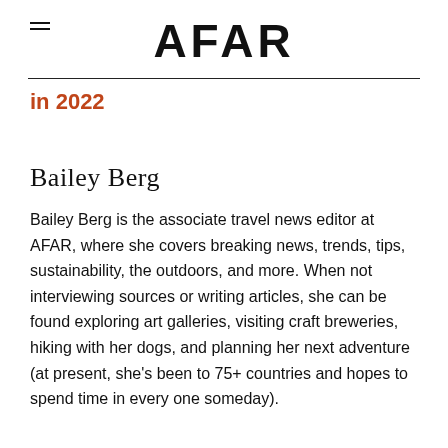AFAR
in 2022
Bailey Berg
Bailey Berg is the associate travel news editor at AFAR, where she covers breaking news, trends, tips, sustainability, the outdoors, and more. When not interviewing sources or writing articles, she can be found exploring art galleries, visiting craft breweries, hiking with her dogs, and planning her next adventure (at present, she's been to 75+ countries and hopes to spend time in every one someday).